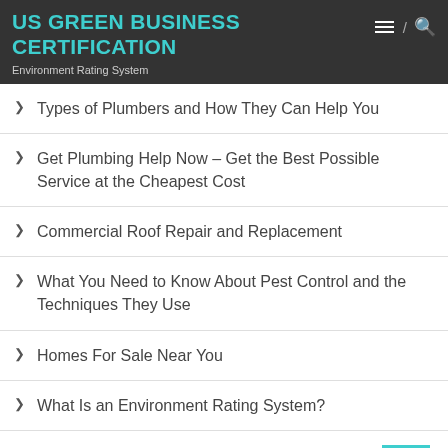US GREEN BUSINESS CERTIFICATION
Environment Rating System
Types of Plumbers and How They Can Help You
Get Plumbing Help Now – Get the Best Possible Service at the Cheapest Cost
Commercial Roof Repair and Replacement
What You Need to Know About Pest Control and the Techniques They Use
Homes For Sale Near You
What Is an Environment Rating System?